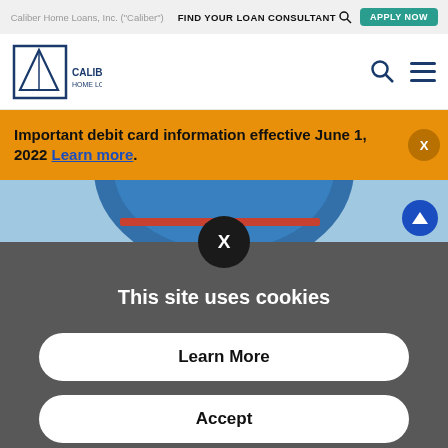Caliber Home Loans, Inc. ("Caliber")
FIND YOUR LOAN CONSULTANT
APPLY NOW
[Figure (logo): Caliber Home Loans logo with triangular arrow graphic and text 'CALIBER HOME LOANS']
Important debit card information effective June 1, 2022 Learn more.
[Figure (photo): Hero image showing blue circular arch over bridge scene]
This site uses cookies
Learn More
Accept